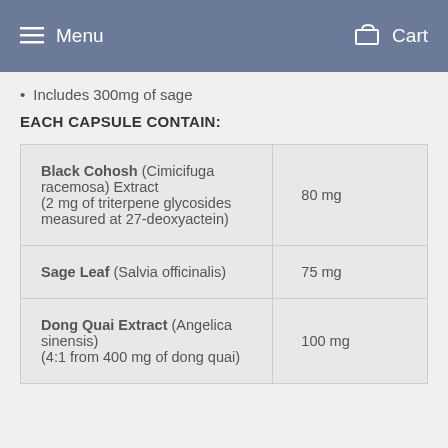Menu  Cart
Includes 300mg of sage
EACH CAPSULE CONTAIN:
| Ingredient | Amount |
| --- | --- |
| Black Cohosh (Cimicifuga racemosa) Extract (2 mg of triterpene glycosides measured at 27-deoxyactein) | 80 mg |
| Sage Leaf (Salvia officinalis) | 75 mg |
| Dong Quai Extract (Angelica sinensis) (4:1 from 400 mg of dong quai) | 100 mg |